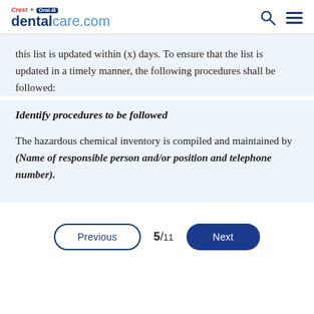Crest + Oral-B dentalcare.com
this list is updated within (x) days. To ensure that the list is updated in a timely manner, the following procedures shall be followed:
Identify procedures to be followed
The hazardous chemical inventory is compiled and maintained by (Name of responsible person and/or position and telephone number).
Previous  5/11  Next